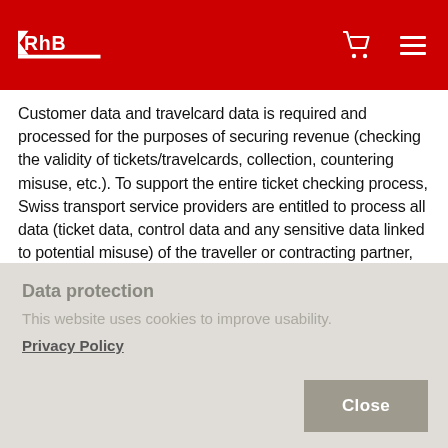RhB logo header with cart and menu icons
Customer data and travelcard data is required and processed for the purposes of securing revenue (checking the validity of tickets/travelcards, collection, countering misuse, etc.). To support the entire ticket checking process, Swiss transport service providers are entitled to process all data (ticket data, control data and any sensitive data linked to potential misuse) of the traveller or contracting partner, and, in the case of (cross-border) international tickets or travelcards, to liaise with other transport service providers in order to verify validity and
Data protection
This website uses cookies to improve usability.
Privacy Policy
Close